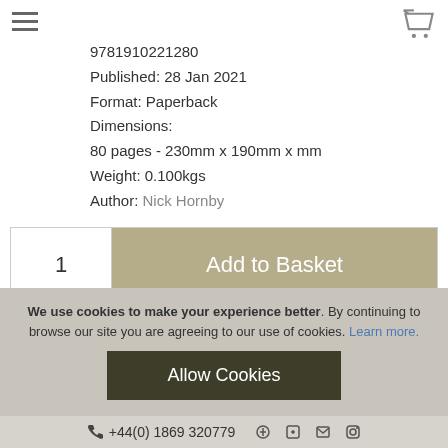9781910221280
Published: 28 Jan 2021
Format: Paperback
Dimensions:
80 pages - 230mm x 190mm x mm
Weight: 0.100kgs
Author: Nick Hornby
1  Add to Basket
Secure delivery
We use cookies to make your experience better. By continuing to browse our site you are agreeing to our use of cookies. Learn more.
Allow Cookies
+44(0) 1869 320779